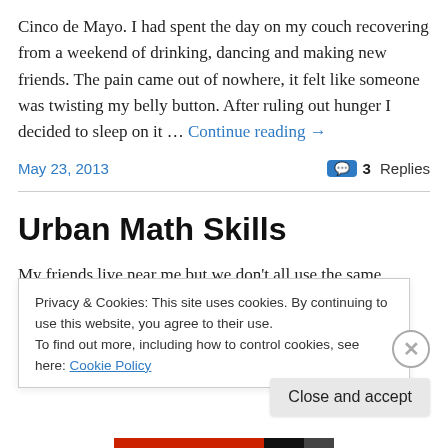Cinco de Mayo. I had spent the day on my couch recovering from a weekend of drinking, dancing and making new friends. The pain came out of nowhere, it felt like someone was twisting my belly button. After ruling out hunger I decided to sleep on it … Continue reading →
May 23, 2013   3 Replies
Urban Math Skills
My friends live near me but we don't all use the same
Privacy & Cookies: This site uses cookies. By continuing to use this website, you agree to their use.
To find out more, including how to control cookies, see here: Cookie Policy